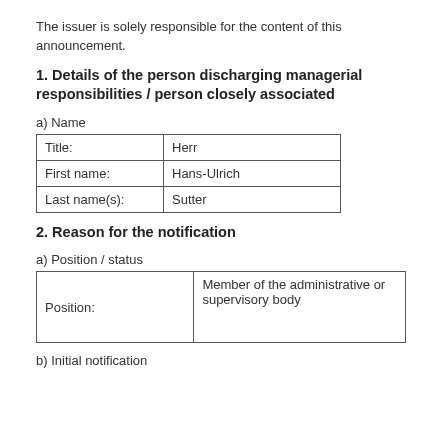The issuer is solely responsible for the content of this announcement.
1. Details of the person discharging managerial responsibilities / person closely associated
a) Name
| Title: | Herr |
| First name: | Hans-Ulrich |
| Last name(s): | Sutter |
2. Reason for the notification
a) Position / status
| Position: | Member of the administrative or supervisory body |
b) Initial notification